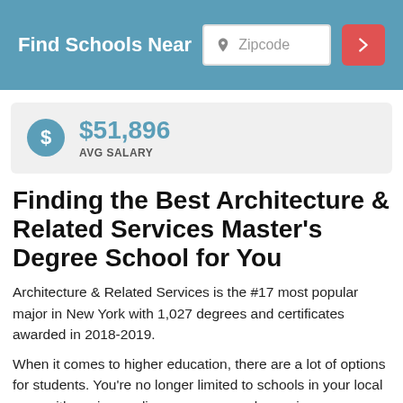Find Schools Near Zipcode
$51,896 AVG SALARY
Finding the Best Architecture & Related Services Master's Degree School for You
Architecture & Related Services is the #17 most popular major in New York with 1,027 degrees and certificates awarded in 2018-2019.
When it comes to higher education, there are a lot of options for students. You're no longer limited to schools in your local area, either, since online programs are becoming more prevalent. Or you may find the programs at a trade school to be better than at a four-